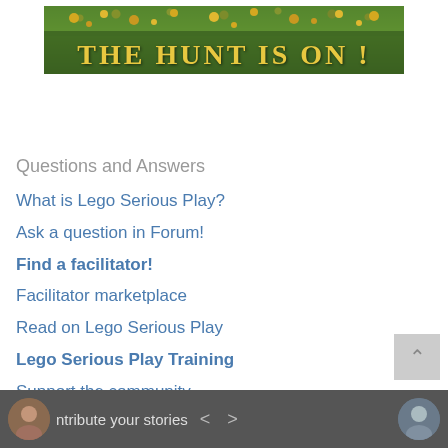[Figure (photo): Banner image with yellow flowers and grass background showing text 'THE HUNT IS ON!']
Questions and Answers
What is Lego Serious Play?
Ask a question in Forum!
Find a facilitator!
Facilitator marketplace
Read on Lego Serious Play
Lego Serious Play Training
Support the community
ntribute your stories < >